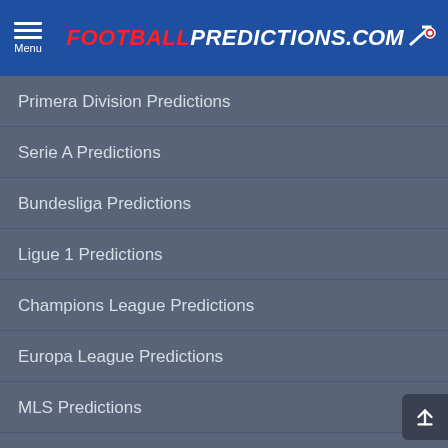Menu | FOOTBALLPREDICTIONS.COM
Primera Division Predictions
Serie A Predictions
Bundesliga Predictions
Ligue 1 Predictions
Champions League Predictions
Europa League Predictions
MLS Predictions
Euro 2020 Predictions
International Friendlies Predictions